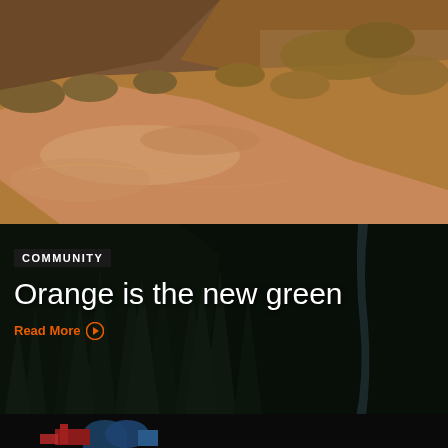[Figure (photo): Aerial or ground-level view of an orange-red silty river or stream flowing across a sandy, arid landscape with dry scrubby vegetation on the banks. The water appears reddish-orange from mineral content or sediment.]
[Figure (photo): Dark nighttime or heavily shaded forest scene showing dense tall evergreen (conifer/pine) trees on a steep rocky hillside or cliff. At the bottom, partially visible colorful infrastructure or industrial equipment (blue/red) is visible.]
COMMUNITY
Orange is the new green
Read More